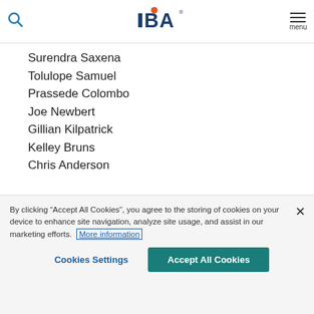IIBA logo header with search and menu
Surendra Saxena
Tolulope Samuel
Prassede Colombo
Joe Newbert
Gillian Kilpatrick
Kelley Bruns
Chris Anderson
And finally, IIBA has just completed three EEP Focus Group meetings to gain further input from
By clicking “Accept All Cookies”, you agree to the storing of cookies on your device to enhance site navigation, analyze site usage, and assist in our marketing efforts. More information